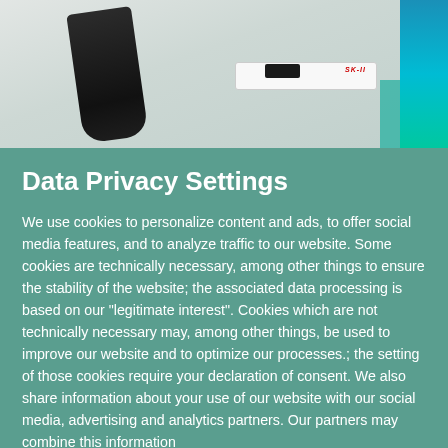[Figure (photo): Product photo showing skincare/beauty products including a black tube, white SK-II product, and blue/teal packaging on a light background]
Data Privacy Settings
We use cookies to personalize content and ads, to offer social media features, and to analyze traffic to our website. Some cookies are technically necessary, among other things to ensure the stability of the website; the associated data processing is based on our "legitimate interest". Cookies which are not technically necessary may, among other things, be used to improve our website and to optimize our processes.; the setting of those cookies require your declaration of consent. We also share information about your use of our website with our social media, advertising and analytics partners. Our partners may combine this information
ACCEPT ALL COOKIES